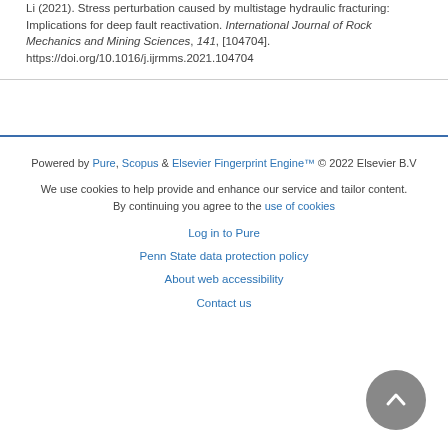Li (2021). Stress perturbation caused by multistage hydraulic fracturing: Implications for deep fault reactivation. International Journal of Rock Mechanics and Mining Sciences, 141, [104704]. https://doi.org/10.1016/j.ijrmms.2021.104704
Powered by Pure, Scopus & Elsevier Fingerprint Engine™ © 2022 Elsevier B.V
We use cookies to help provide and enhance our service and tailor content. By continuing you agree to the use of cookies
Log in to Pure
Penn State data protection policy
About web accessibility
Contact us